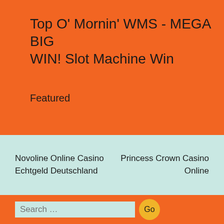Top O' Mornin' WMS - MEGA BIG WIN! Slot Machine Win
Featured
Novoline Online Casino Echtgeld Deutschland
Princess Crown Casino Online
Search …